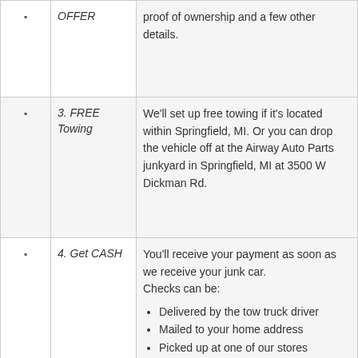| Icon | Step | Description |
| --- | --- | --- |
| [car icon] | OFFER | proof of ownership and a few other details. |
| [car icon] | 3. FREE Towing | We'll set up free towing if it's located within Springfield, MI. Or you can drop the vehicle off at the Airway Auto Parts junkyard in Springfield, MI at 3500 W Dickman Rd. |
| [car icon] | 4. Get CASH | You'll receive your payment as soon as we receive your junk car. Checks can be: • Delivered by the tow truck driver • Mailed to your home address • Picked up at one of our stores |
Do you have more questions about how to sell a junk car?